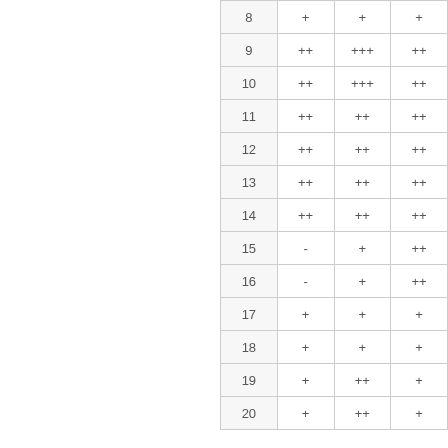| 8 | + | + | + |
| 9 | ++ | +++ | ++ |
| 10 | ++ | +++ | ++ |
| 11 | ++ | ++ | ++ |
| 12 | ++ | ++ | ++ |
| 13 | ++ | ++ | ++ |
| 14 | ++ | ++ | ++ |
| 15 | - | + | ++ |
| 16 | - | + | ++ |
| 17 | + | + | + |
| 18 | + | + | + |
| 19 | + | ++ | + |
| 20 | + | ++ | + |